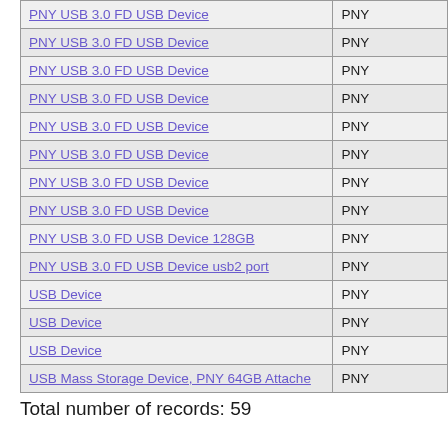| Device Name | Brand |
| --- | --- |
| PNY USB 3.0 FD USB Device | PNY |
| PNY USB 3.0 FD USB Device | PNY |
| PNY USB 3.0 FD USB Device | PNY |
| PNY USB 3.0 FD USB Device | PNY |
| PNY USB 3.0 FD USB Device | PNY |
| PNY USB 3.0 FD USB Device | PNY |
| PNY USB 3.0 FD USB Device | PNY |
| PNY USB 3.0 FD USB Device | PNY |
| PNY USB 3.0 FD USB Device 128GB | PNY |
| PNY USB 3.0 FD USB Device usb2 port | PNY |
| USB Device | PNY |
| USB Device | PNY |
| USB Device | PNY |
| USB Mass Storage Device, PNY 64GB Attache | PNY |
Total number of records: 59